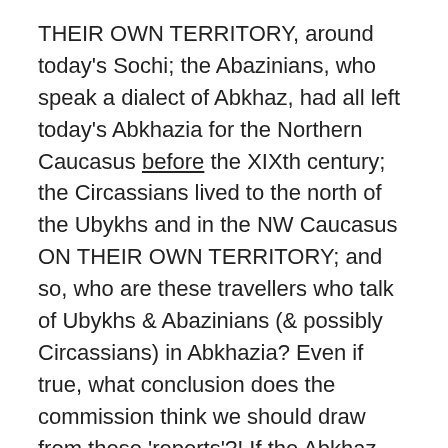THEIR OWN TERRITORY, around today's Sochi; the Abazinians, who speak a dialect of Abkhaz, had all left today's Abkhazia for the Northern Caucasus before the XIXth century; the Circassians lived to the north of the Ubykhs and in the NW Caucasus ON THEIR OWN TERRITORY; and so, who are these travellers who talk of Ubykhs & Abazinians (& possibly Circassians) in Abkhazia? Even if true, what conclusion does the commission think we should draw from these 'reports'?! If the Abkhaz coast was considered by the Russians as traditionally under Georgian suzerainty, why was Abkhazia (capital Sukhum) absorbed separately from Mingrelia (capital Zugdidi) or even (truly Georgian) Imereti (whose capital is Kutaisi), and why were her rulers granted a charter by Tsar Aleksandr promising that they would rule in perpetuity over the Abkhazian lands (albeit under